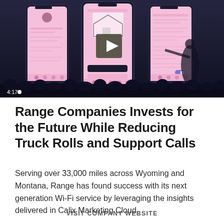[Figure (screenshot): Video thumbnail showing a conference presentation with three smartphone screens displaying a pink-themed app (Range), with a play button overlay and timestamp 4:17 in the bottom left. A presenter is visible on stage in front of the screens with an audience silhouette at the bottom.]
Range Companies Invests for the Future While Reducing Truck Rolls and Support Calls
Serving over 33,000 miles across Wyoming and Montana, Range has found success with its next generation Wi-Fi service by leveraging the insights delivered in Calix Marketing Cloud.
VISIT COMPANY WEBSITE